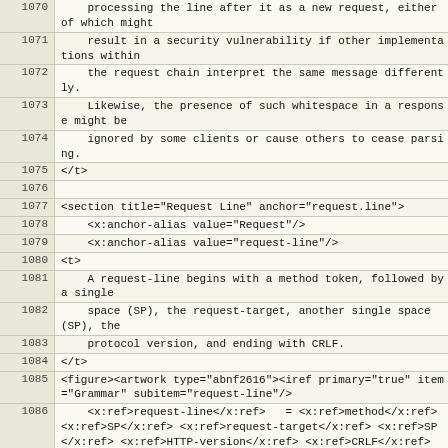| line | code |
| --- | --- |
| 1070 |     processing the line after it as a new request, either of which might |
| 1071 |     result in a security vulnerability if other implementations within |
| 1072 |     the request chain interpret the same message differently. |
| 1073 |     Likewise, the presence of such whitespace in a response might be |
| 1074 |     ignored by some clients or cause others to cease parsing. |
| 1075 | </t> |
| 1076 |  |
| 1077 | <section title="Request Line" anchor="request.line"> |
| 1078 |     <x:anchor-alias value="Request"/> |
| 1079 |     <x:anchor-alias value="request-line"/> |
| 1080 | <t> |
| 1081 |     A request-line begins with a method token, followed by a single |
| 1082 |     space (SP), the request-target, another single space (SP), the |
| 1083 |     protocol version, and ending with CRLF. |
| 1084 | </t> |
| 1085 | <figure><artwork type="abnf2616"><iref primary="true" item="Grammar" subitem="request-line"/> |
| 1086 |     <x:ref>request-line</x:ref>   = <x:ref>method</x:ref> <x:ref>SP</x:ref> <x:ref>request-target</x:ref> <x:ref>SP</x:ref> <x:ref>HTTP-version</x:ref> <x:ref>CRLF</x:ref> |
| 1087 | </artwork></figure> |
| 1088 | <t> |
| 1089 |     A server &MUST; be able to parse any received message that begins |
| 1090 |     with a request-line and matches the ABNF rule for HTTP-message. |